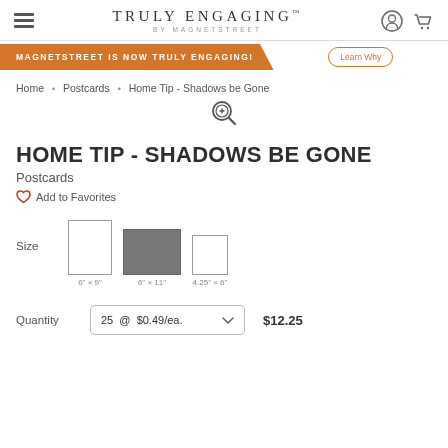Truly Engaging by Magnetstreet
MAGNETSTREET IS NOW TRULY ENGAGING!
Home • Postcards • Home Tip - Shadows be Gone
HOME TIP - SHADOWS BE GONE
Postcards
Add to Favorites
Size  6" x 9"  6" x 11"  4.25" x 6"
Quantity  25 @ $0.49/ea.  $12.25